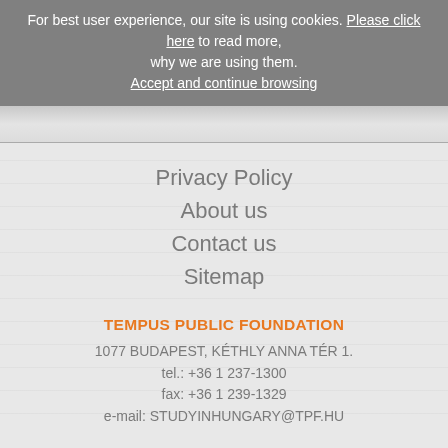For best user experience, our site is using cookies. Please click here to read more, why we are using them. Accept and continue browsing
Privacy Policy
About us
Contact us
Sitemap
TEMPUS PUBLIC FOUNDATION
1077 BUDAPEST, KÉTHLY ANNA TÉR 1.
tel.: +36 1 237-1300
fax: +36 1 239-1329
e-mail: STUDYINHUNGARY@TPF.HU
[Figure (logo): Partial circular logo graphic in blue at the bottom right of the page]